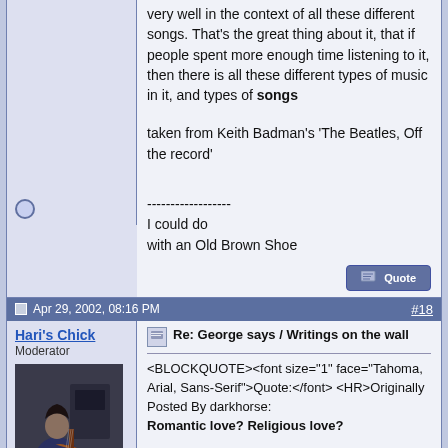very well in the context of all these different songs. That's the great thing about it, that if people spent more enough time listening to it, then there is all these different types of music in it, and types of songs
taken from Keith Badman's 'The Beatles, Off the record'
------------------
I could do
with an Old Brown Shoe
Apr 29, 2002, 08:16 PM   #18
Hari's Chick
Moderator
[Figure (photo): Avatar photo of a person sitting and playing a guitar]
Join Date: Jan 11, 2002
Re: George says / Writings on the wall
<BLOCKQUOTE><font size="1" face="Tahoma, Arial, Sans-Serif">Quote:</font>
<HR>Originally Posted By darkhorse:
Romantic love? Religious love?

Q: Mr. Harrison, I was